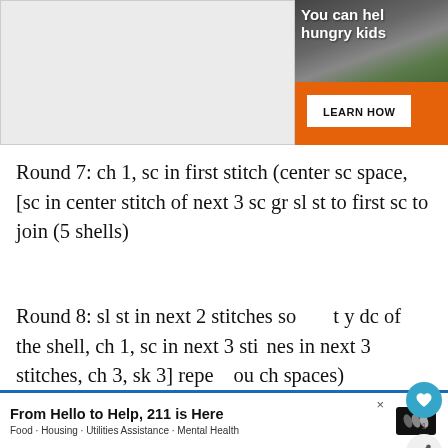[Figure (illustration): Top advertisement banner showing an orange background with text 'You can help hungry kids' and a 'LEARN HOW' button on the right side. The left portion shows a white/grey advertisement placeholder area.]
Round 7: ch 1, sc in first stitch (center sc space, [sc in center stitch of next 3 sc gr sl st to first sc to join (5 shells)
Round 8: sl st in next 2 stitches so that y dc of the shell, ch 1, sc in next 3 sti nes in next 3 stitches, ch 3, sk 3] repea ou ch spaces)
[Figure (illustration): Bottom advertisement bar with text 'From Hello to Help, 211 is Here' and subtext 'Food · Housing · Utilities Assistance · Mental Health']